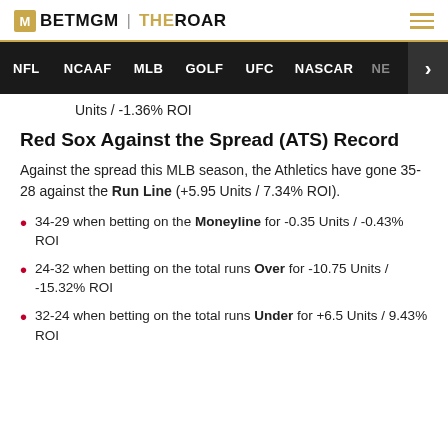BETMGM | THEROAR
NFL  NCAAF  MLB  GOLF  UFC  NASCAR  NE  >
Units / -1.36% ROI
Red Sox Against the Spread (ATS) Record
Against the spread this MLB season, the Athletics have gone 35-28 against the Run Line (+5.95 Units / 7.34% ROI).
34-29 when betting on the Moneyline for -0.35 Units / -0.43% ROI
24-32 when betting on the total runs Over for -10.75 Units / -15.32% ROI
32-24 when betting on the total runs Under for +6.5 Units / 9.43% ROI